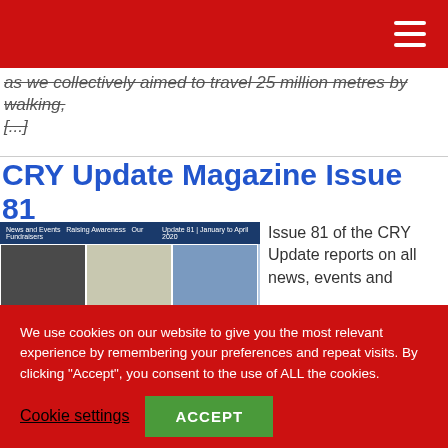as we collectively aimed to travel 25 million metres by walking, [...]
CRY Update Magazine Issue 81
[Figure (photo): CRY Update Magazine Issue 81 cover — Update 81 | January to April 2020 — showing a grid of six photographs of people at news and events, raising awareness, and fundraisers.]
Issue 81 of the CRY Update reports on all news, events and
We use cookies on our website to give you the most relevant experience by remembering your preferences and repeat visits. By clicking “Accept”, you consent to the use of ALL the cookies.
Cookie settings
ACCEPT